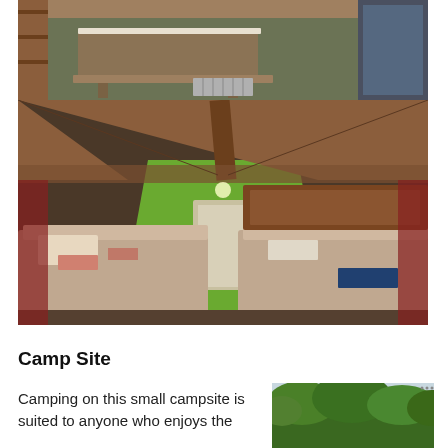[Figure (photo): Interior photo of a large room with long tables, benches, bunk beds along the walls, and a grey floor — appears to be a hostel common room or dining hall.]
[Figure (photo): Interior photo of an attic dormitory room with exposed wooden beams, green wall, a door at the far end, and two sets of beds with towels and bedding, viewed from between the beds.]
Camp Site
Camping on this small campsite is suited to anyone who enjoys the
[Figure (photo): Outdoor photo showing green trees and foliage, likely the campsite grounds.]